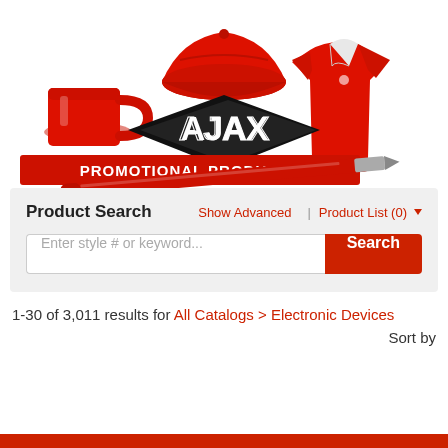[Figure (logo): Ajax Promotional Products logo with red mug, red baseball cap, red polo shirt, red pen, and black diamond logo shape with 'Ajax' text and 'PROMOTIONAL PRODUCTS' banner]
Product Search
Show Advanced | Product List (0)
Enter style # or keyword...   Search
1-30 of 3,011 results for All Catalogs > Electronic Devices
Sort by